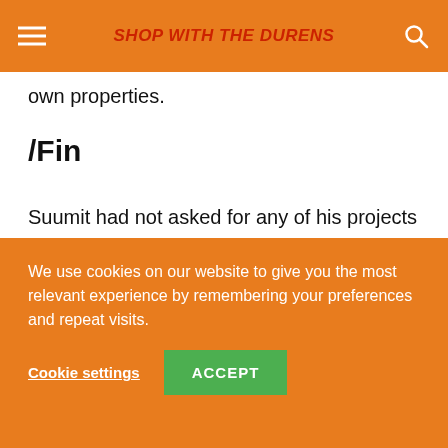SHOP WITH THE DURENS
own properties.
/Fin
Suumit had not asked for any of his projects to be linked to but he did mention a rank tracker he's working on, Rankz, that he's hoping to grow. After all he's shared here, it's the least I can support him with so I'll personally be trying it out in the next few
We use cookies on our website to give you the most relevant experience by remembering your preferences and repeat visits.